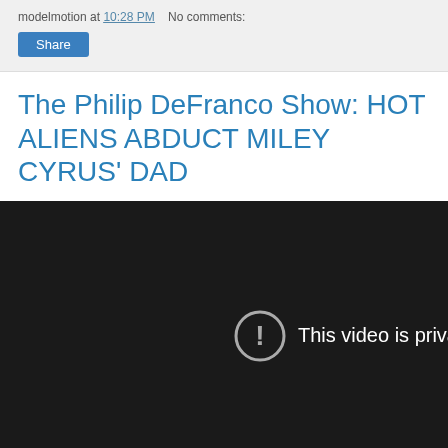modelmotion at 10:28 PM   No comments:
Share
The Philip DeFranco Show: HOT ALIENS ABDUCT MILEY CYRUS' DAD
[Figure (screenshot): Embedded YouTube video player showing a private video error message. Dark background with a circle-exclamation icon and the text 'This video is priva...' (truncated).]